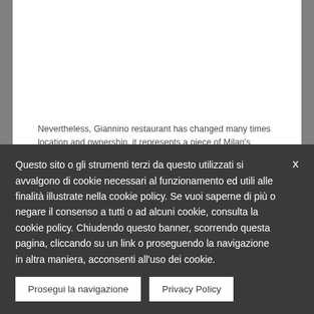Nevertheless, Giannino restaurant has changed many times location and ownership, it represents a piece of Milan's history, existing for 120 years.
An important restoration project has been handled in every detail by Spagnulo&Partners firm; a radical revision of previous image and fit out, giving back to the restaurant the importance of its tradition.
Questo sito o gli strumenti terzi da questo utilizzati si avvalgono di cookie necessari al funzionamento ed utili alle finalità illustrate nella cookie policy. Se vuoi saperne di più o negare il consenso a tutti o ad alcuni cookie, consulta la cookie policy. Chiudendo questo banner, scorrendo questa pagina, cliccando su un link o proseguendo la navigazione in altra maniera, acconsenti all'uso dei cookie.
Prosegui la navigazione
Privacy Policy